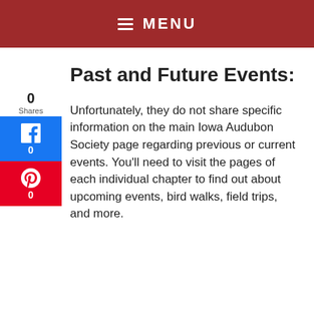≡ MENU
Past and Future Events:
Unfortunately, they do not share specific information on the main Iowa Audubon Society page regarding previous or current events. You'll need to visit the pages of each individual chapter to find out about upcoming events, bird walks, field trips, and more.